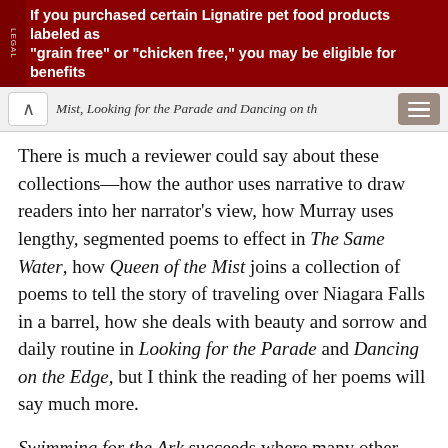If you purchased certain Lignatire pet food products labeled as "grain free" or "chicken free," you may be eligible for benefits
Mist, Looking for the Parade and Dancing on th...
There is much a reviewer could say about these collections—how the author uses narrative to draw readers into her narrator's view, how Murray uses lengthy, segmented poems to effect in The Same Water, how Queen of the Mist joins a collection of poems to tell the story of traveling over Niagara Falls in a barrel, how she deals with beauty and sorrow and daily routine in Looking for the Parade and Dancing on the Edge, but I think the reading of her poems will say much more.
Swimming for the Ark succeeds where many other books might otherwise fail—it draws the reader into an age, a view, a slice of life and it delivers substance through well-built structure and a careful choice of language. Once I